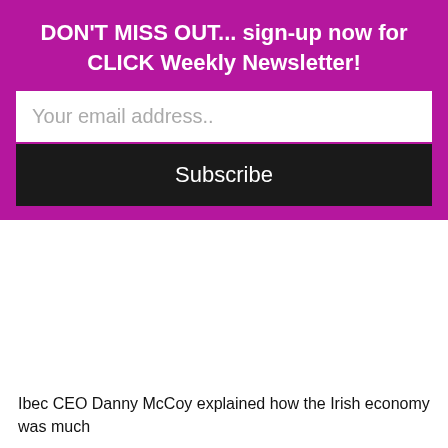DON'T MISS OUT... sign-up now for CLICK Weekly Newsletter!
Your email address..
Subscribe
Ibec CEO Danny McCoy explained how the Irish economy was much